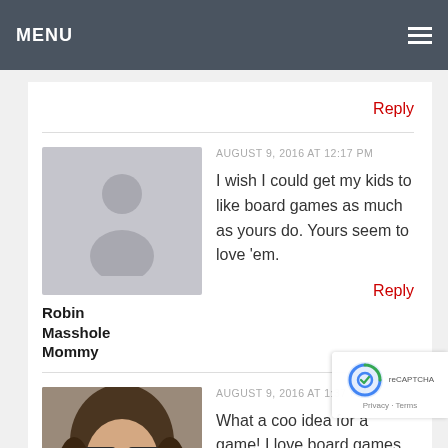MENU
Reply
AUGUST 9, 2016 AT 12:17 PM
I wish I could get my kids to like board games as much as yours do. Yours seem to love 'em.
Robin Masshole Mommy
Reply
AUGUST 9, 2016 AT 1:37 PM
What a coo idea for a game! I love board games that teach you!
Neely
Reply